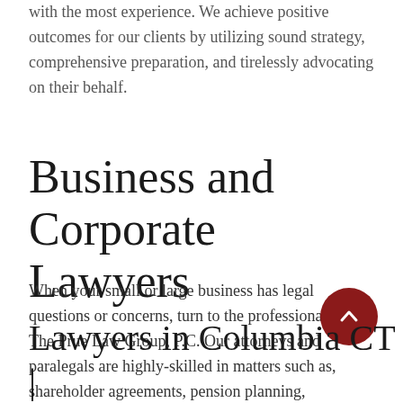with the most experience. We achieve positive outcomes for our clients by utilizing sound strategy, comprehensive preparation, and tirelessly advocating on their behalf.
Business and Corporate Lawyers
When your small or large business has legal questions or concerns, turn to the professionals at The Prue Law Group, P.C. Our attorneys and paralegals are highly-skilled in matters such as, shareholder agreements, pension planning, compliance with regulatory agencies, and more. (860) 423-9231.
[Figure (other): Dark red circular scroll-to-top button with upward chevron arrow]
Lawyers in Columbia CT |